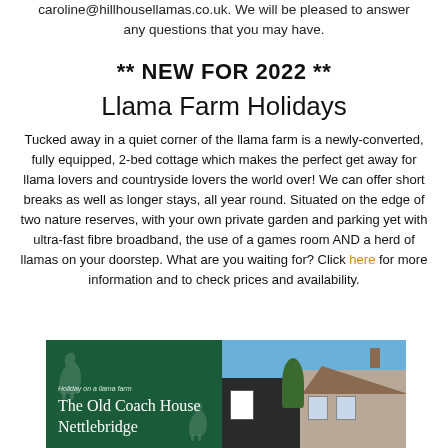caroline@hillhousellamas.co.uk.  We will be pleased to answer any questions that you may have.
** NEW FOR 2022 **
Llama Farm Holidays
Tucked away in a quiet corner of the llama farm is a newly-converted, fully equipped, 2-bed cottage which makes the perfect get away for llama lovers and countryside lovers the world over!  We can offer short breaks as well as longer stays, all year round.  Situated on the edge of two nature reserves, with your own private garden and parking yet with ultra-fast fibre broadband, the use of a games room AND a herd of llamas on your doorstep.  What are you waiting for?  Click here for more information and to check prices and availability.
[Figure (photo): Two-panel image: left panel shows dark green promotional graphic for 'The Old Coach House Nettlebridge' holiday on a llama farm, with llama silhouettes; right panel shows a photograph of a stone cottage with blue sky.]